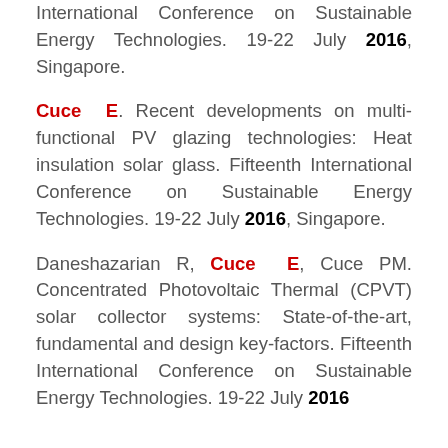International Conference on Sustainable Energy Technologies. 19-22 July 2016, Singapore.
Cuce E. Recent developments on multi-functional PV glazing technologies: Heat insulation solar glass. Fifteenth International Conference on Sustainable Energy Technologies. 19-22 July 2016, Singapore.
Daneshazarian R, Cuce E, Cuce PM. Concentrated Photovoltaic Thermal (CPVT) solar collector systems: State-of-the-art, fundamental and design key-factors. Fifteenth International Conference on Sustainable Energy Technologies. 19-22 July 2016,